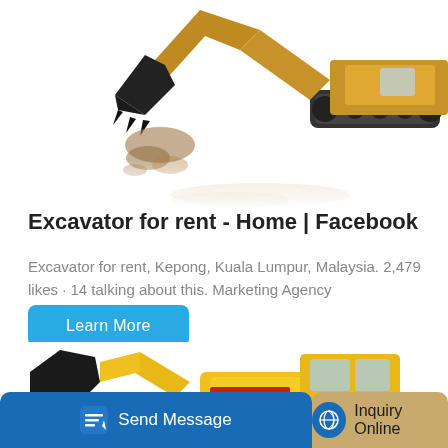[Figure (photo): Top portion of a large yellow excavator arm with bucket digging into ground, on white background]
Excavator for rent - Home | Facebook
Excavator for rent, Kepong, Kuala Lumpur, Malaysia. 2,479 likes · 14 talking about this. Marketing Agency
[Figure (screenshot): Learn More button in blue/teal color]
[Figure (photo): Yellow XGMA front loader with black bucket, partial view]
[Figure (screenshot): Bottom action bar with Send Message and Inquiry Online buttons]